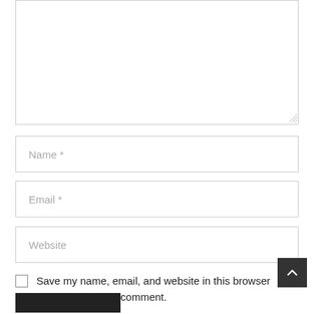[Figure (screenshot): A comment form textarea (empty, large, with resize handle at bottom-right)]
Name *
Email *
Website
Save my name, email, and website in this browser for the next time I comment.